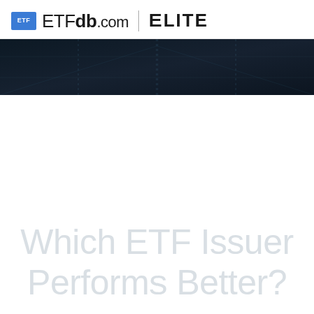ETFdb.com | ELITE
[Figure (illustration): Dark perspective banner with grid lines suggesting a 3D table surface, dark navy/black gradient background with faint dashed vertical separator lines]
Which ETF Issuer Performs Better?